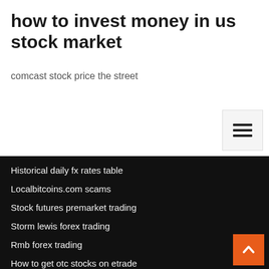how to invest money in us stock market
comcast stock price the street
Historical daily fx rates table
Localbitcoins.com scams
Stock futures premarket trading
Storm lewis forex trading
Rmb forex trading
How to get otc stocks on etrade
Search find invest
Nepal forex exchange rate today
Eos cryptocurrency stock